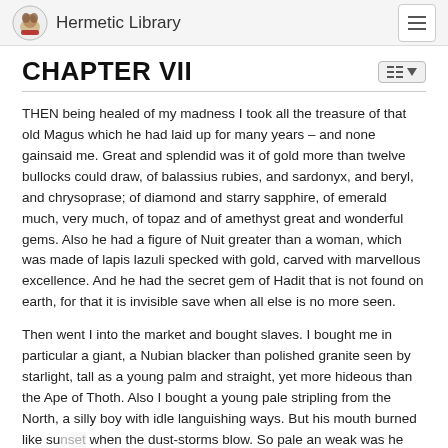Hermetic Library
CHAPTER VII
THEN being healed of my madness I took all the treasure of that old Magus which he had laid up for many years – and none gainsaid me. Great and splendid was it of gold more than twelve bullocks could draw, of balassius rubies, and sardonyx, and beryl, and chrysoprase; of diamond and starry sapphire, of emerald much, very much, of topaz and of amethyst great and wonderful gems. Also he had a figure of Nuit greater than a woman, which was made of lapis lazuli specked with gold, carved with marvellous excellence. And he had the secret gem of Hadit that is not found on earth, for that it is invisible save when all else is no more seen.
Then went I into the market and bought slaves. I bought me in particular a giant, a Nubian blacker than polished granite seen by starlight, tall as a young palm and straight, yet more hideous than the Ape of Thoth. Also I bought a young pale stripling from the North, a silly boy with idle languishing ways. But his mouth burned like sunset when the dust-storms blow. So pale an weak was he that all despised…